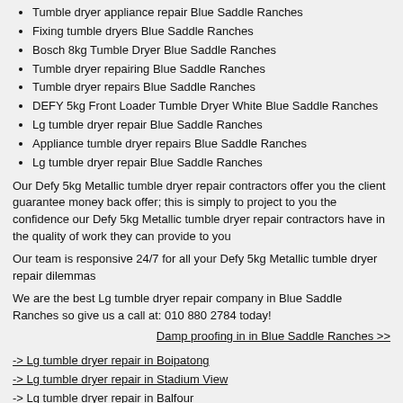Tumble dryer appliance repair Blue Saddle Ranches
Fixing tumble dryers Blue Saddle Ranches
Bosch 8kg Tumble Dryer Blue Saddle Ranches
Tumble dryer repairing Blue Saddle Ranches
Tumble dryer repairs Blue Saddle Ranches
DEFY 5kg Front Loader Tumble Dryer White Blue Saddle Ranches
Lg tumble dryer repair Blue Saddle Ranches
Appliance tumble dryer repairs Blue Saddle Ranches
Lg tumble dryer repair Blue Saddle Ranches
Our Defy 5kg Metallic tumble dryer repair contractors offer you the client guarantee money back offer; this is simply to project to you the confidence our Defy 5kg Metallic tumble dryer repair contractors have in the quality of work they can provide to you
Our team is responsive 24/7 for all your Defy 5kg Metallic tumble dryer repair dilemmas
We are the best Lg tumble dryer repair company in Blue Saddle Ranches so give us a call at: 010 880 2784 today!
Damp proofing in in Blue Saddle Ranches >>
-> Lg tumble dryer repair in Boipatong
-> Lg tumble dryer repair in Stadium View
-> Lg tumble dryer repair in Balfour